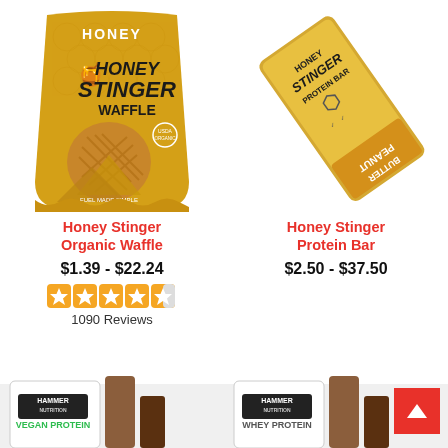[Figure (photo): Honey Stinger Organic Waffle product package — gold/yellow bag with honeycomb pattern and waffle visible]
Honey Stinger Organic Waffle
$1.39 - $22.24
[Figure (infographic): Star rating: approximately 4.5 out of 5 stars (orange stars)]
1090 Reviews
[Figure (photo): Honey Stinger Protein Bar product — gold/tan bar packaging shown at an angle]
Honey Stinger Protein Bar
$2.50 - $37.50
[Figure (photo): Hammer Nutrition Vegan Protein bar product — partial view at bottom of page]
[Figure (photo): Hammer Nutrition Whey Protein bar product — partial view at bottom of page]